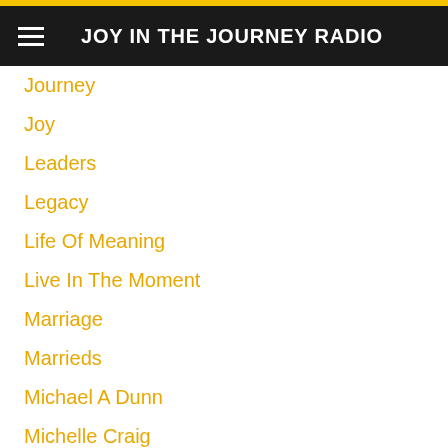JOY IN THE JOURNEY RADIO
Journey
Joy
Leaders
Legacy
Life Of Meaning
Live In The Moment
Marriage
Marrieds
Michael A Dunn
Michelle Craig
Miracles
M Russell Ballard
Natural Mindset
Neil Andersen
Member Login
Partner With The Lord